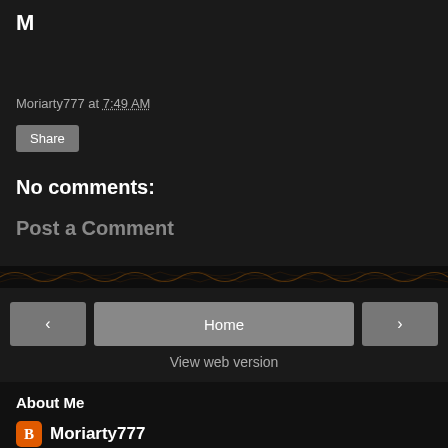M
Moriarty777 at 7:49 AM
Share
No comments:
Post a Comment
[Figure (other): Decorative ornamental band with dark background and golden pattern]
Home
View web version
About Me
Moriarty777
View my complete profile